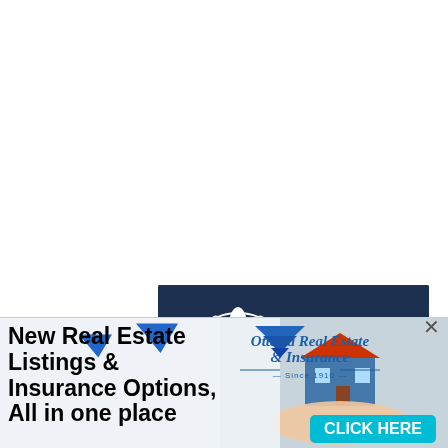[Figure (logo): Moose Jaw Funeral Home advertisement banner. Dark navy blue background with white circular wheat sheaf logo and cursive 'Moose Jaw Funeral Home' text. Grey circle with 'CLICK HERE' call to action in bottom right.]
[Figure (infographic): Ottawa Real Estate & Insurance advertisement. Left side shows bold black text 'New Real Estate Listings & Insurance Options, All in one place'. Center has a blue triangular/house logo icon. Right side shows 'Ottawa Real Estate & Insurance Since 1910' in blue italic script. Background photo of hands holding a miniature house model. Cyan 'CLICK HERE' button bottom right. Close 'x' button top right.]